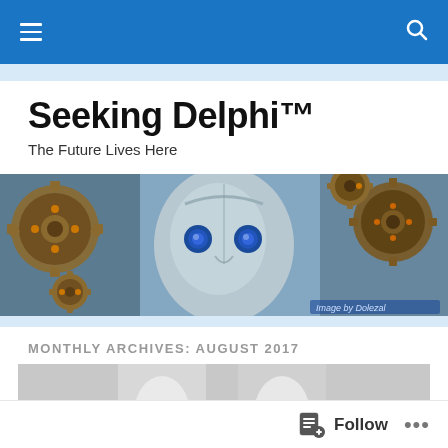Navigation bar with hamburger menu and search icon
Seeking Delphi™
The Future Lives Here
[Figure (illustration): A silver robot/android face with blue eyes, surrounded by rusty brown gears and cogs on a blue background. Small text reads 'Image by Dolezal']
MONTHLY ARCHIVES: AUGUST 2017
[Figure (photo): Partial view of a person in a white top, cropped at the bottom of the page]
Follow   •••